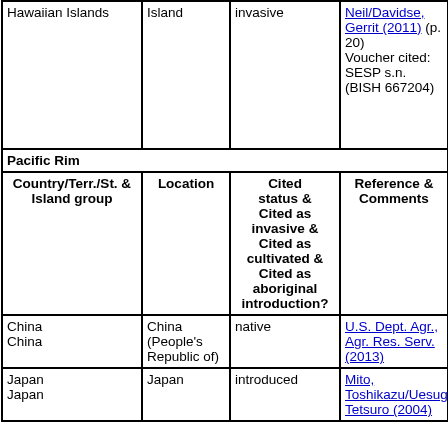| Country/Terr./St. & Island group | Location | Cited status & Cited as invasive & Cited as cultivated & Cited as aboriginal introduction? | Reference & Comments |
| --- | --- | --- | --- |
| Hawaiian Islands | Island | invasive | Neil/Davidse, Gerrit (2011) (p. 20) Voucher cited: SESP s.n. (BISH 667204) |
| Pacific Rim |  |  |  |
| Country/Terr./St. & Island group | Location | Cited status & Cited as invasive & Cited as cultivated & Cited as aboriginal introduction? | Reference & Comments |
| China
China | China (People's Republic of) | native | U.S. Dept. Agr., Agr. Res. Serv. (2013) |
| Japan
Japan | Japan | introduced | Mito, Toshikazu/Uesugi, Tetsuro (2004) |